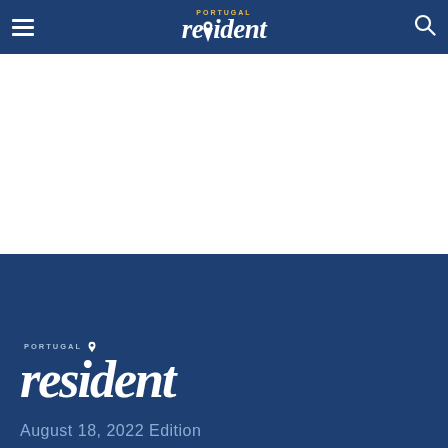Portugal Resident — navigation bar with hamburger menu, logo, and search icon
[Figure (logo): Portugal Resident logo in footer — large italic serif text 'resident' with 'PORTUGAL' in small caps above and a location pin icon]
August 18, 2022 Edition